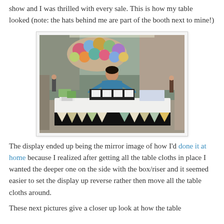show and I was thrilled with every sale.  This is how my table looked (note: the hats behind me are part of the booth next to mine!)
[Figure (photo): A woman in a blue jacket stands behind a craft fair display table covered with a white tablecloth and black bunting. The table has various small items and products on it. Behind her is a colorful display of hats on a rack, which is noted to be part of the neighboring booth. The setting appears to be an indoor mall or event space.]
The display ended up being the mirror image of how I'd done it at home because I realized after getting all the table cloths in place I wanted the deeper one on the side with the box/riser and it seemed easier to set the display up reverse rather then move all the table cloths around.
These next pictures give a closer up look at how the table